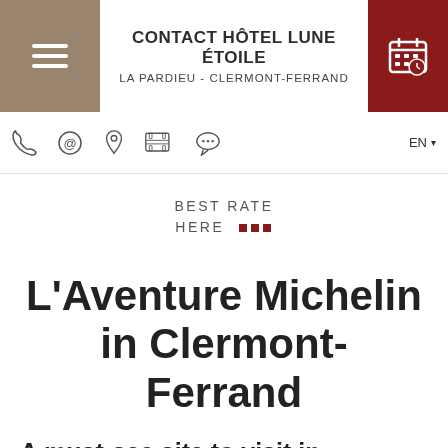CONTACT HÔTEL LUNE ÉTOILE
LA PARDIEU - CLERMONT-FERRAND
[Figure (infographic): Navigation icon bar with phone, email, location, media, and chat icons, plus EN language selector]
BEST RATE HERE ■ ■ ■
L'Aventure Michelin in Clermont-Ferrand
A must-see site to visit in Clermont-Ferrand!